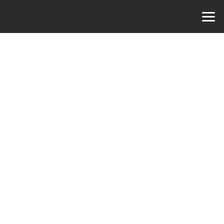≡
SEARCH ...
HOME › Internet And Social Media
Internet And Social Media